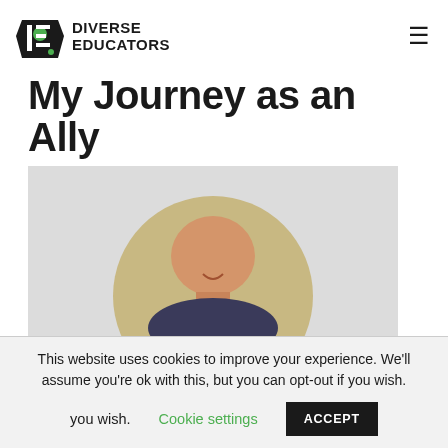DIVERSE EDUCATORS
My Journey as an Ally
[Figure (photo): Circular portrait photo of a smiling man against a stone/brick background, set on a light grey rectangular background]
This website uses cookies to improve your experience. We'll assume you're ok with this, but you can opt-out if you wish.
Cookie settings   ACCEPT